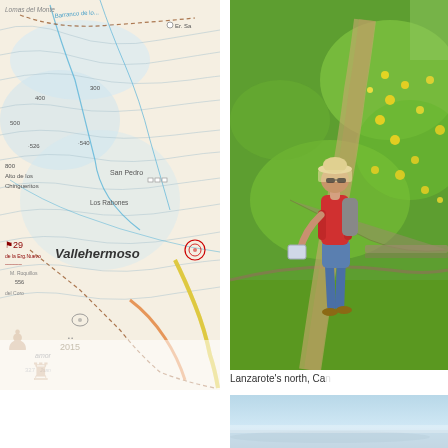[Figure (map): Topographic map showing the Vallehermoso area with elevation contours, roads, and place names including Lomas del Monte, San Pedro, Los Rabones, Vallehermoso, Alto de los Chingueritos, M. Roquillos]
[Figure (photo): Woman hiker wearing a hat and red top walking on a path through green meadows with yellow wildflowers, likely in the Canary Islands]
Lanzarote's north, Can
[Figure (photo): Partial view of a coastal landscape with pale blue sky and hazy horizon]